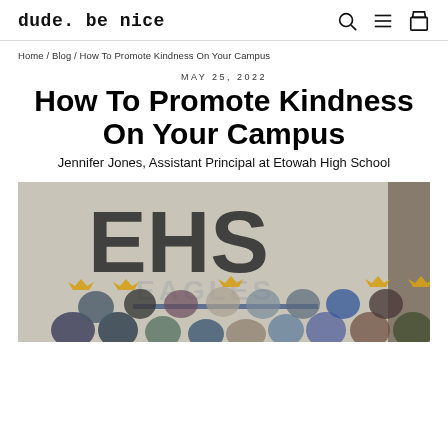dude. be nice
Home / Blog / How To Promote Kindness On Your Campus
MAY 25, 2022
How To Promote Kindness On Your Campus
Jennifer Jones, Assistant Principal at Etowah High School
[Figure (photo): Group photo of students and adults wearing gold crowns in front of an EHS Eagles sign/banner at Etowah High School]